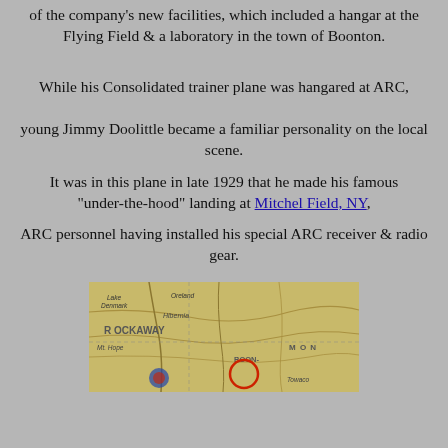of the company's new facilities, which included a hangar at the Flying Field & a laboratory in the town of Boonton.
While his Consolidated trainer plane was hangared at ARC, young Jimmy Doolittle became a familiar personality on the local scene.
It was in this plane in late 1929 that he made his famous "under-the-hood" landing at Mitchel Field, NY,
ARC personnel having installed his special ARC receiver & radio gear.
[Figure (map): Vintage map showing area including Lake Denmark, Oreland, Hibernia, Rockaway, Morris, Boonton, Towaco and surrounding New Jersey region with red circle annotation.]